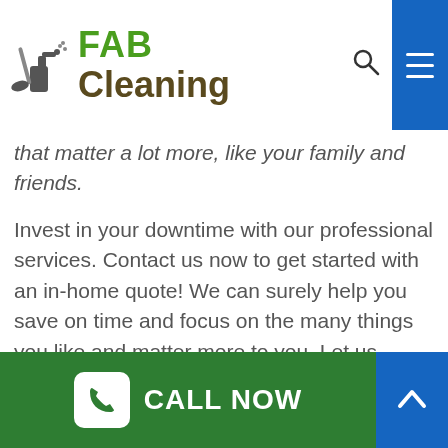[Figure (logo): FAB Cleaning logo with cleaning spray bottle icon, green FAB text and brown Cleaning text]
that matter a lot more, like your family and friends.
Invest in your downtime with our professional services. Contact us now to get started with an in-home quote! We can surely help you save on time and focus on the many things you like and matter more to you. Let us address the inconvenience of keeping your residence clean:
You have much better things to do! Contact House Cleaning Melbourne today!